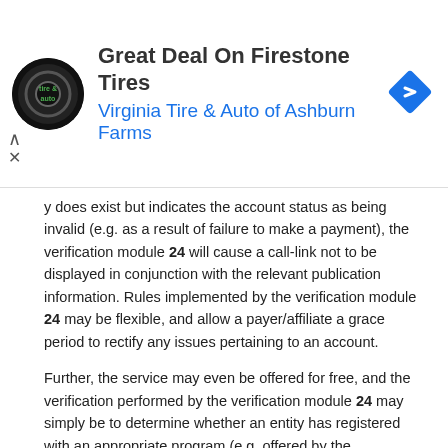[Figure (other): Advertisement banner for Virginia Tire & Auto of Ashburn Farms featuring their logo, title 'Great Deal On Firestone Tires', and a blue navigation arrow icon]
y does exist but indicates the account status as being invalid (e.g. as a result of failure to make a payment), the verification module 24 will cause a call-link not to be displayed in conjunction with the relevant publication information. Rules implemented by the verification module 24 may be flexible, and allow a payer/affiliate a grace period to rectify any issues pertaining to an account.
Further, the service may even be offered for free, and the verification performed by the verification module 24 may simply be to determine whether an entity has registered with an appropriate program (e.g. offered by the publication system 16 or by another entity). It yet a further embodiment, the verification module 24 may perform a check to ascertain whether the entity meets some other defined criterion (e.g., in the scenario in which the publication system 16 is part of a commerce system, whether the entity has transacted a predetermined volume of business or met some sales or reputation criteria).
Assuming that the verification module 24 determines, for a particular instance of publication data, that an owner of a domain associated with the